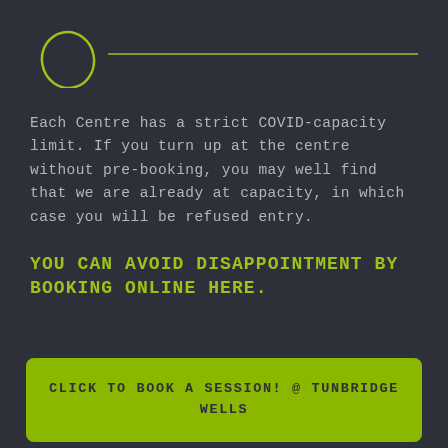[Figure (logo): Oval/egg shaped outline logo in lime green on dark background with a horizontal lime green line extending to the right]
Each Centre has a strict COVID-capacity limit. If you turn up at the centre without pre-booking, you may well find that we are already at capacity, in which case you will be refused entry.
YOU CAN AVOID DISAPPOINTMENT BY BOOKING ONLINE HERE.
CLICK TO BOOK A SESSION! @ TUNBRIDGE WELLS
CLICK TO BOOK A SESSION! @ CANTERBURY